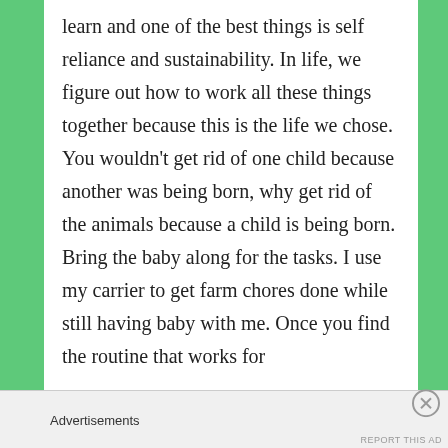learn and one of the best things is self reliance and sustainability. In life, we figure out how to work all these things together because this is the life we chose. You wouldn't get rid of one child because another was being born, why get rid of the animals because a child is being born. Bring the baby along for the tasks. I use my carrier to get farm chores done while still having baby with me. Once you find the routine that works for
Advertisements